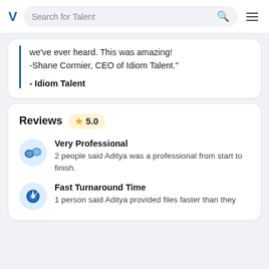Search for Talent
we've ever heard. This was amazing! -Shane Cormier, CEO of Idiom Talent."
- Idiom Talent
Reviews  5.0
Very Professional
2 people said Aditya was a professional from start to finish.
Fast Turnaround Time
1 person said Aditya provided files faster than they